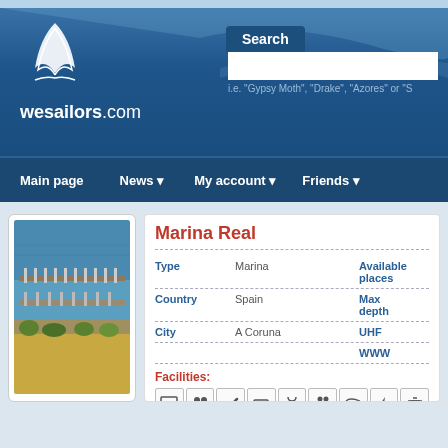[Figure (logo): wesailors.com logo with sail graphic]
Search | Main page | News | My account | Friends
[Figure (photo): Aerial photo of Marina Real showing boats docked in a marina]
Marina Real
| Field | Value | Field2 |
| --- | --- | --- |
| Type | Marina | Available places |
| Country | Spain | Max depth |
| City | A Coruna | UHF |
|  |  | WWW |
Facilities:
[Figure (infographic): Row of facility icons: pass/documents, people/crew, wrench/repair, radio/electronics, shower, restrooms, wifi/radio, lightning/electricity, fuel/trash]
Additional facilities:
Cran 32T